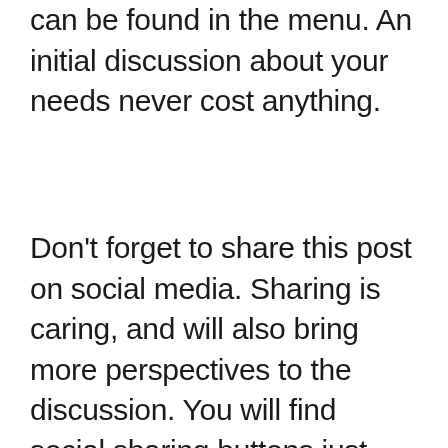can be found in the menu. An initial discussion about your needs never cost anything.
Don't forget to share this post on social media. Sharing is caring, and will also bring more perspectives to the discussion. You will find social sharing buttons just below the article.